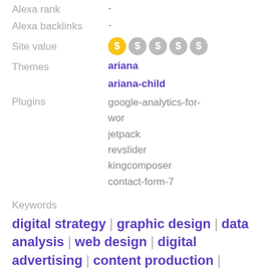Alexa rank -
Alexa backlinks -
Site value [dollar icons: 1 active, 4 inactive]
Themes: ariana, ariana-child
Plugins: google-analytics-for-wor... jetpack revslider kingcomposer contact-form-7
Keywords
digital strategy | graphic design | data analysis | web design | digital advertising | content production | target audience | smart | germany
Search for any keywords